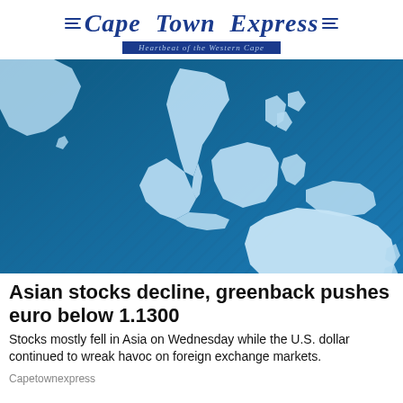Cape Town Express — Heartbeat of the Western Cape
[Figure (map): Blue stylized map showing Asia-Pacific region including Southeast Asia and Australia on a blue diagonal-striped background]
Asian stocks decline, greenback pushes euro below 1.1300
Stocks mostly fell in Asia on Wednesday while the U.S. dollar continued to wreak havoc on foreign exchange markets.
Capetownexpress